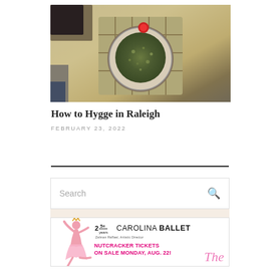[Figure (photo): Top-down photo of a cup of loose leaf tea on a wooden coaster on a table, with a teapot partially visible]
How to Hygge in Raleigh
FEBRUARY 23, 2022
[Figure (screenshot): Search bar with magnifying glass icon]
[Figure (logo): Carolina Ballet advertisement - Nutcracker Tickets on Sale Monday, Aug. 22! with ballet dancer image, logo shows 25th anniversary Carolina Ballet, Zalman Raffael, Artistic Director]